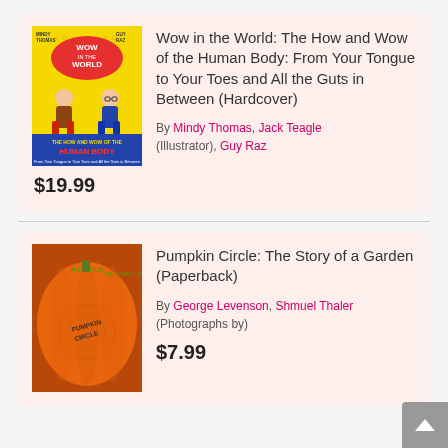[Figure (illustration): Book cover: Wow in the World – The How and Wow of the Human Body, yellow cover with cartoon characters]
Wow in the World: The How and Wow of the Human Body: From Your Tongue to Your Toes and All the Guts in Between (Hardcover)
By Mindy Thomas, Jack Teagle (Illustrator), Guy Raz
$19.99
[Figure (photo): Book cover: Pumpkin Circle – The Story of a Garden, photo of orange pumpkin with text carved/printed on it]
Pumpkin Circle: The Story of a Garden (Paperback)
By George Levenson, Shmuel Thaler (Photographs by)
$7.99